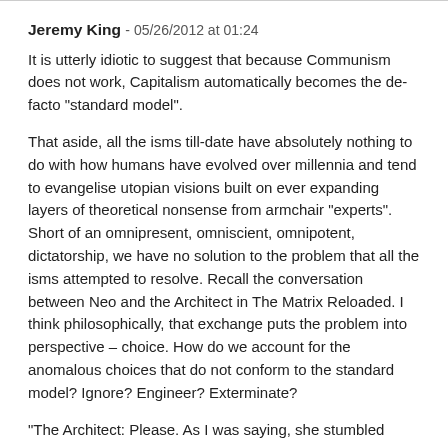Jeremy King - 05/26/2012 at 01:24
It is utterly idiotic to suggest that because Communism does not work, Capitalism automatically becomes the de-facto "standard model".
That aside, all the isms till-date have absolutely nothing to do with how humans have evolved over millennia and tend to evangelise utopian visions built on ever expanding layers of theoretical nonsense from armchair "experts". Short of an omnipresent, omniscient, omnipotent, dictatorship, we have no solution to the problem that all the isms attempted to resolve. Recall the conversation between Neo and the Architect in The Matrix Reloaded. I think philosophically, that exchange puts the problem into perspective – choice. How do we account for the anomalous choices that do not conform to the standard model? Ignore? Engineer? Exterminate?
"The Architect: Please. As I was saying, she stumbled upon a...